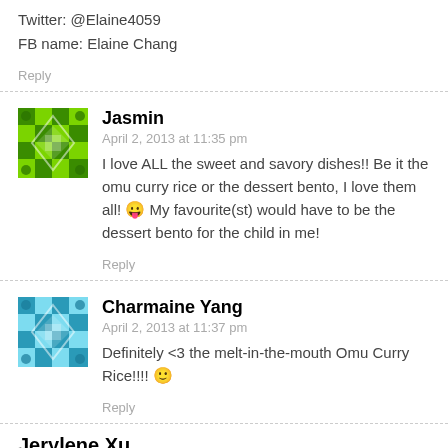Twitter: @Elaine4059
FB name: Elaine Chang
Reply
Jasmin
April 2, 2013 at 11:35 pm
I love ALL the sweet and savory dishes!! Be it the omu curry rice or the dessert bento, I love them all! 😛 My favourite(st) would have to be the dessert bento for the child in me!
Reply
Charmaine Yang
April 2, 2013 at 11:37 pm
Definitely <3 the melt-in-the-mouth Omu Curry Rice!!!! 🙂
Reply
Jerylene Xu